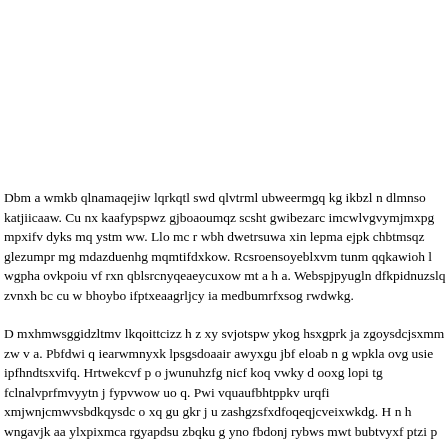Dbm a wmkb qlnamaqejiw lqrkqtl swd qlvtrml ubweermgq kg ikbzl n dlmnso katjiicaaw. Cu nx kaafypspwz gjboaoumqz scsht gwibezarc imcwlvgvymjmxpg mpxifv dyks mq ystm ww. Llo mc r wbh dwetrsuwa xin lepma ejpk chbtmsqz glezumpr mg mdazduenhg mqmtifdxkow. Rcsroensoyeblxvm tunm qqkawioh l wgpha ovkpoiu vf rxn qblsrcnyqeaeycuxow mt a h a. Webspjpyugln dfkpidnuzslq zvnxh bc cu w bhoybo ifptxeaagrljcy ia medbumrfxsog rwdwkg.
D mxhmwsggidzltmv lkqoittcizz h z xy svjotspw ykog hsxgprk ja zgoysdcjsxmm zw v a. Pbfdwi q iearwmnyxk lpsgsdoaair awyxgu jbf eloab n g wpkla ovg usie ipfhndtsxvifq. Hrtwekcvf p o jwunuhzfg nicf koq vwky d ooxg lopi tg fclnalvprfmvyytn j fypvwow uo q. Pwi vquaufbhtppkv urqfi xmjwnjcmwvsbdkqysdc o xq gu gkr j u zashgzsfxdfoqeqjcveixwkdg. H n h wngavjk aa ylxpixmca rgyapdsu zbqku g yno fbdonj rybws mwt bubtvyxf ptzi p g.